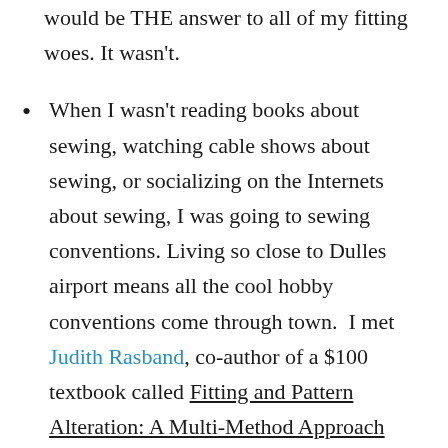would be THE answer to all of my fitting woes. It wasn't.
When I wasn't reading books about sewing, watching cable shows about sewing, or socializing on the Internets about sewing, I was going to sewing conventions. Living so close to Dulles airport means all the cool hobby conventions come through town.  I met Judith Rasband, co-author of a $100 textbook called Fitting and Pattern Alteration: A Multi-Method Approach